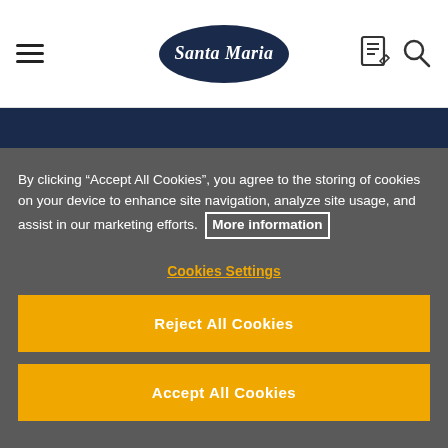[Figure (logo): Santa Maria brand logo in dark navy oval/ellipse shape with white italic serif text]
Tasty news?
By clicking “Accept All Cookies”, you agree to the storing of cookies on your device to enhance site navigation, analyze site usage, and assist in our marketing efforts.  More information
Cookies Settings
Reject All Cookies
Accept All Cookies